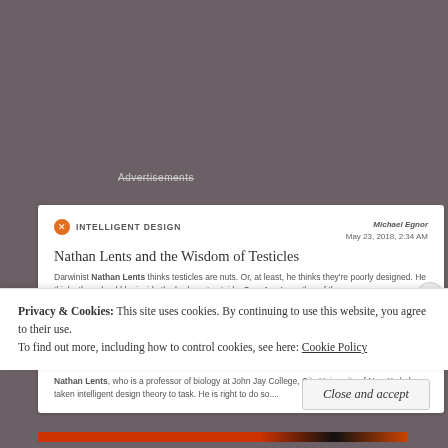Advertisements
INTELLIGENT DESIGN
Michael Egnor
May 23, 2018, 2:34 AM
Nathan Lents and the Wisdom of Testicles
Darwinist Nathan Lents thinks testicles are nuts. Or, at least, he thinks they're poorly designed. He thinks they should be inside the body, not outside. Says Lents, author of the...
INTELLIGENT DESIGN
Michael Egnor
May 22, 2018, 5:37 PM
Nathan Lents: Science with the Parking Brake On
Nathan Lents, who is a professor of biology at John Jay College, City University of New York, has taken intelligent design theory to task. He is right to do so....
Privacy & Cookies: This site uses cookies. By continuing to use this website, you agree to their use.
To find out more, including how to control cookies, see here: Cookie Policy
Close and accept